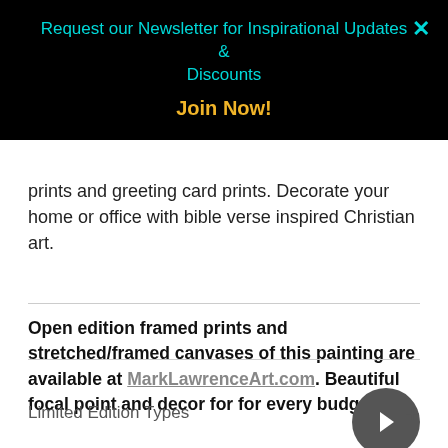Request our Newsletter for Inspirational Updates & Discounts
Join Now!
prints and greeting card prints. Decorate your home or office with bible verse inspired Christian art.
Open edition framed prints and stretched/framed canvases of this painting are available at MarkLawrenceArt.com. Beautiful focal point and decor for for every budget.
Limited Edition Types